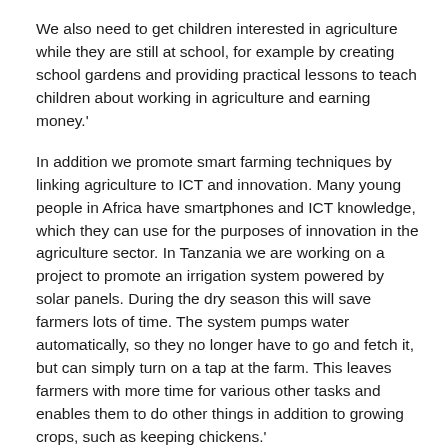We also need to get children interested in agriculture while they are still at school, for example by creating school gardens and providing practical lessons to teach children about working in agriculture and earning money.'
In addition we promote smart farming techniques by linking agriculture to ICT and innovation. Many young people in Africa have smartphones and ICT knowledge, which they can use for the purposes of innovation in the agriculture sector. In Tanzania we are working on a project to promote an irrigation system powered by solar panels. During the dry season this will save farmers lots of time. The system pumps water automatically, so they no longer have to go and fetch it, but can simply turn on a tap at the farm. This leaves farmers with more time for various other tasks and enables them to do other things in addition to growing crops, such as keeping chickens.'
What strategies does SNV use?